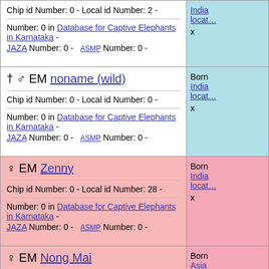Chip id Number: 0 - Local id Number: 2 -
Number: 0 in Database for Captive Elephants in Karnataka - JAZA Number: 0 - ASMP Number: 0 -
India locat... x
† ♂ EM noname (wild)
Chip id Number: 0 - Local id Number: 0 -
Number: 0 in Database for Captive Elephants in Karnataka - JAZA Number: 0 - ASMP Number: 0 -
Born India locat... x
♀ EM Zenny
Chip id Number: 0 - Local id Number: 28 -
Number: 0 in Database for Captive Elephants in Karnataka - JAZA Number: 0 - ASMP Number: 0 -
Born India locat... x
♀ EM Nong Mai
Chip id Number: 0 - Local id Number: 0 -
Number: 0 in Database for Captive Elephants in Karnataka - JAZA Number: 0 - ASMP Number: 0 -
Born Asia locat... x